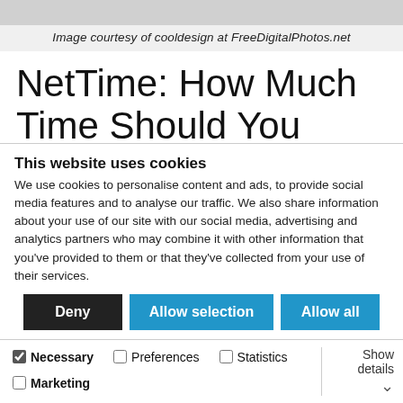Image courtesy of cooldesign at FreeDigitalPhotos.net
NetTime: How Much Time Should You Spend Networking? string(51) "NetTime: How Much Time…
This website uses cookies
We use cookies to personalise content and ads, to provide social media features and to analyse our traffic. We also share information about your use of our site with our social media, advertising and analytics partners who may combine it with other information that you've provided to them or that they've collected from your use of their services.
Deny | Allow selection | Allow all
Necessary  Preferences  Statistics  Marketing  Show details